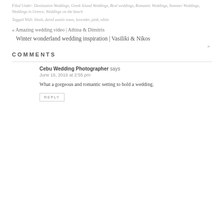Filed Under: Destination Weddings, Greek Island Weddings, Real weddings, Romantic Weddings, Summer Weddings, Weddings in Greece, Weddings on the beach
Tagged With: blush, david austin roses, lavender, pink, white
« Amazing wedding video | Athina & Dimitris
Winter wonderland wedding inspiration | Vasiliki & Nikos »
COMMENTS
Cebu Wedding Photographer says
June 16, 2016 at 2:55 pm
What a gorgeous and romantic setting to hold a wedding.
REPLY